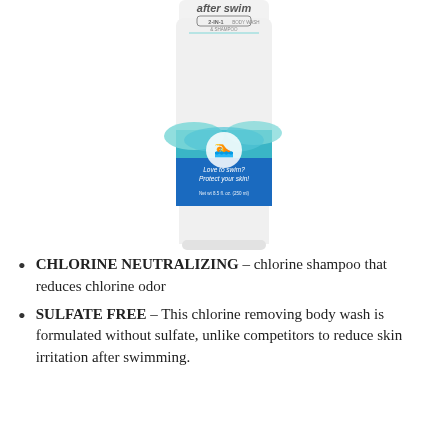[Figure (photo): A white squeeze tube of 'after swim 2-in-1 body wash & shampoo' product. The tube has a white body at top and bottom with a blue and teal wave design label in the middle. The label features a circular swimmer icon and text reading 'Love to swim? Protect your skin!' and 'Net wt 8.5 fl. oz. (250 ml)'. Only the lower portion of the tube and label are fully visible; the top is cut off.]
CHLORINE NEUTRALIZING – chlorine shampoo that reduces chlorine odor
SULFATE FREE – This chlorine removing body wash is formulated without sulfate, unlike competitors to reduce skin irritation after swimming.